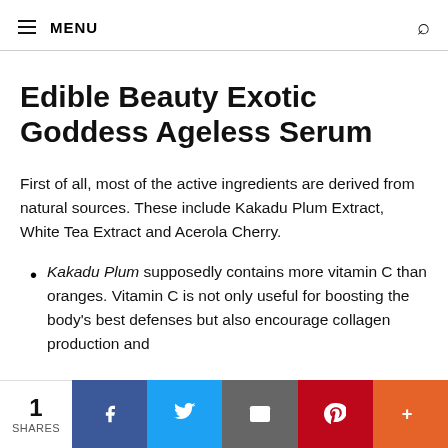MENU
Edible Beauty Exotic Goddess Ageless Serum
First of all, most of the active ingredients are derived from natural sources. These include Kakadu Plum Extract, White Tea Extract and Acerola Cherry.
Kakadu Plum supposedly contains more vitamin C than oranges. Vitamin C is not only useful for boosting the body's best defenses but also encourage collagen production and
1 SHARES